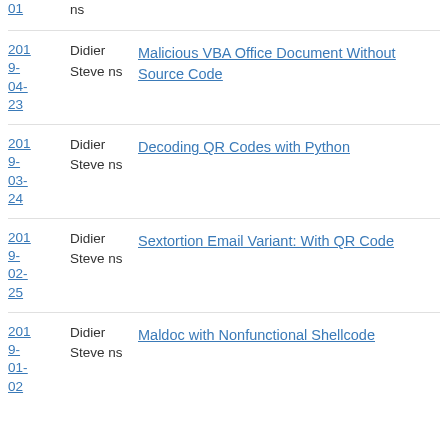01 | ns | (continuation from above)
2019-04-23 | Didier Stevens | Malicious VBA Office Document Without Source Code
2019-03-24 | Didier Stevens | Decoding QR Codes with Python
2019-02-25 | Didier Stevens | Sextortion Email Variant: With QR Code
2019-01-02 | Didier Stevens | Maldoc with Nonfunctional Shellcode